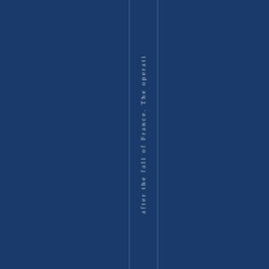[Figure (other): Book spine or cover page with dark blue background and two thin vertical lines framing a vertical text strip reading 'after the fall of France. The operati' — white/light text rotated 90 degrees]
after the fall of France. The operati